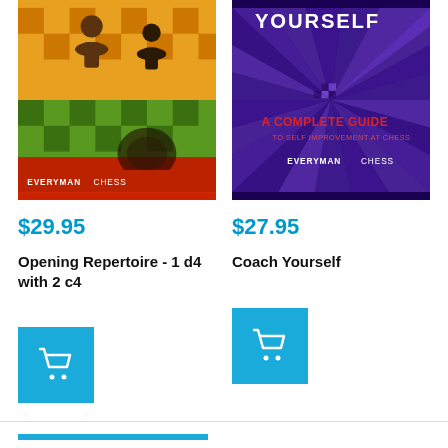[Figure (photo): Book cover: Opening Repertoire - 1 d4 with 2 c4, Everyman Chess, showing chess pawns on colorful checkerboard]
$29.95
Opening Repertoire - 1 d4 with 2 c4
[Figure (other): Blue add-to-cart button with shopping cart icon]
[Figure (photo): Book cover: Coach Yourself, A Complete Guide to Self Improvement at Chess, Everyman Chess, showing purple starburst pattern]
$27.95
Coach Yourself
[Figure (other): Blue add-to-cart button with shopping cart icon]